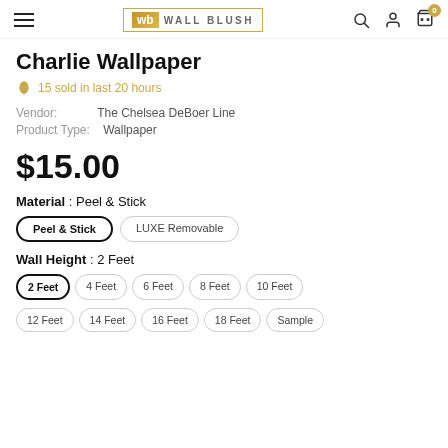Wall Blush — Navigation header with hamburger menu, logo, search, user, cart icons
Charlie Wallpaper
15 sold in last 20 hours
Vendor: The Chelsea DeBoer Line
Product Type: Wallpaper
$15.00
Material : Peel & Stick
Peel & Stick | LUXE Removable
Wall Height : 2 Feet
2 Feet | 4 Feet | 6 Feet | 8 Feet | 10 Feet | 12 Feet | 14 Feet | 16 Feet | 18 Feet | Sample